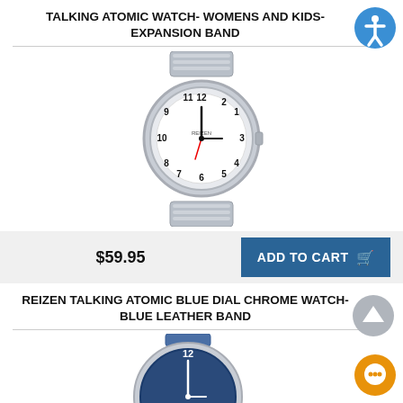TALKING ATOMIC WATCH- WOMENS AND KIDS- EXPANSION BAND
[Figure (photo): Silver analog talking atomic watch with white dial and expansion band]
$59.95
ADD TO CART
REIZEN TALKING ATOMIC BLUE DIAL CHROME WATCH- BLUE LEATHER BAND
[Figure (photo): Reizen talking atomic watch with blue dial and blue leather band, partially visible]